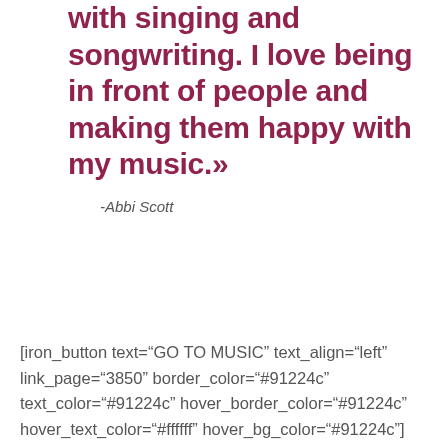with singing and songwriting. I love being in front of people and making them happy with my music.»
-Abbi Scott
[iron_button text="GO TO MUSIC" text_align="left" link_page="3850" border_color="#91224c" text_color="#91224c" hover_border_color="#91224c" hover_text_color="#ffffff" hover_bg_color="#91224c"]